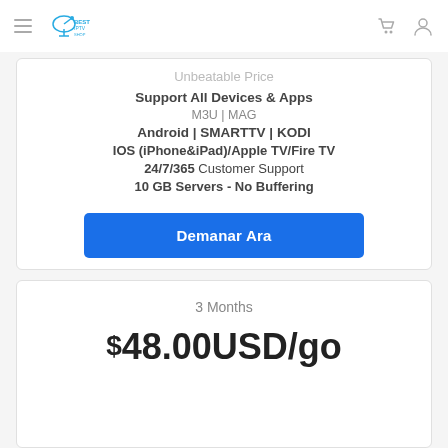Best IPTV Shop
Unbeatable Price
Support All Devices & Apps
M3U | MAG
Android | SMARTTV | KODI
IOS (iPhone&iPad)/Apple TV/Fire TV
24/7/365 Customer Support
10 GB Servers - No Buffering
Demanar Ara
3 Months
$48.00USD/go